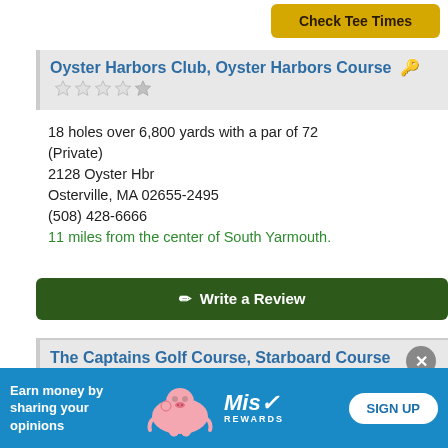[Figure (screenshot): Check Tee Times button (gold/yellow) at top right]
Oyster Harbors Club, Oyster Harbors Course
18 holes over 6,800 yards with a par of 72 (Private)
2128 Oyster Hbr
Osterville, MA 02655-2495
(508) 428-6666
11 miles from the center of South Yarmouth.
[Figure (screenshot): Write a Review button (dark green)]
The Captains Golf Course, Starboard Course
18 holes over 6,776 yards with a par of 72 (Municipal)
1000 Freemans Way
[Figure (screenshot): Advertisement banner: Earn money by sharing your opinions - Miss Rewards SIGN UP]